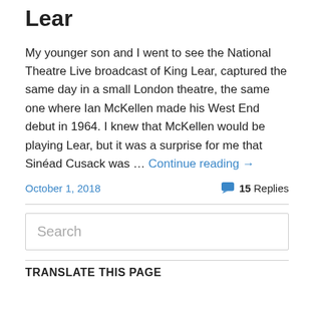Lear
My younger son and I went to see the National Theatre Live broadcast of King Lear, captured the same day in a small London theatre, the same one where Ian McKellen made his West End debut in 1964. I knew that McKellen would be playing Lear, but it was a surprise for me that Sinéad Cusack was … Continue reading →
October 1, 2018   💬 15 Replies
Search
TRANSLATE THIS PAGE